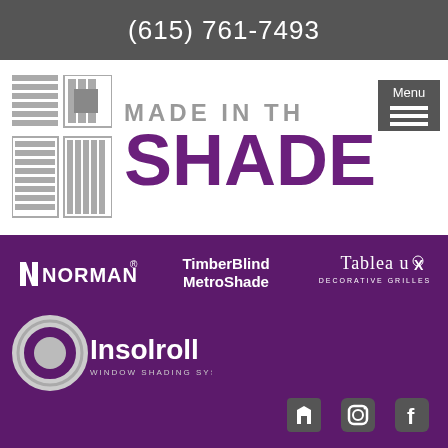(615) 761-7493
[Figure (logo): Made In The Shade logo with blind icon grid on left and text on right]
[Figure (logo): Norman brand logo in white on purple background]
[Figure (logo): TimberBlind MetroShade brand logo in white on purple background]
[Figure (logo): Tableaux Decorative Grilles brand logo in white on purple background]
[Figure (logo): Insolroll window shading systems logo on purple background]
[Figure (logo): Social media icons: Houzz, Instagram, Facebook]